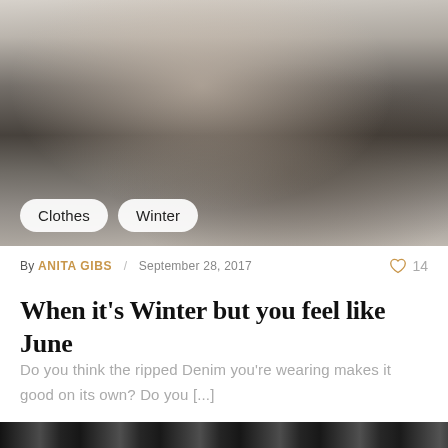[Figure (photo): Fashion photo of a woman with blonde hair wearing a black leather jacket and dark shorts, sitting on concrete steps]
Clothes   Winter
By ANITA GIBS / September 28, 2017   ♡ 14
When it's Winter but you feel like June
Do you think the ripped Denim you're wearing makes it good on its own? Do you [...]
[Figure (photo): Partial bottom image, cropped]